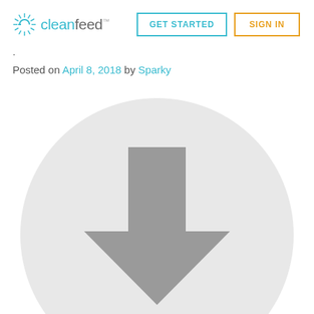cleanfeed™  GET STARTED  SIGN IN
·
Posted on April 8, 2018 by Sparky
[Figure (illustration): A large light gray circle containing a gray downward-pointing arrow/download icon in the center.]